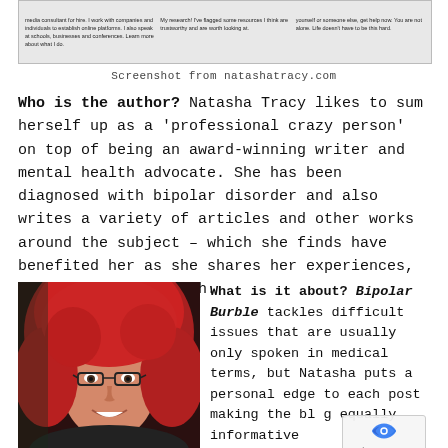[Figure (screenshot): Screenshot of natashatracy.com website showing three columns of text about the author and her work as a media consultant, speaker, and mental health resource.]
Screenshot from natashatracy.com
Who is the author? Natasha Tracy likes to sum herself up as a 'professional crazy person' on top of being an award-winning writer and mental health advocate. She has been diagnosed with bipolar disorder and also writes a variety of articles and other works around the subject – which she finds have benefited her as she shares her experiences, thoughts and research.
[Figure (photo): Photo of Natasha Tracy, a woman with bright red curly hair and glasses, smiling.]
What is it about? Bipolar Burble tackles difficult issues that are usually only spoken in medical terms, but Natasha puts a personal edge to each post making the blog equally informative and...